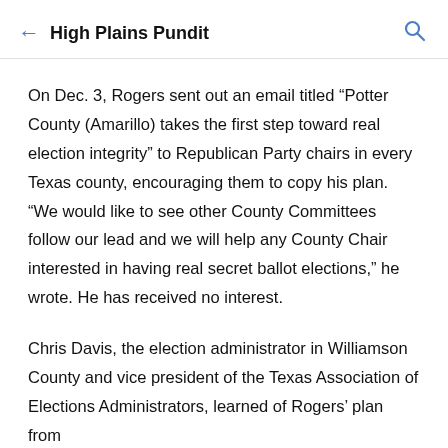High Plains Pundit
On Dec. 3, Rogers sent out an email titled “Potter County (Amarillo) takes the first step toward real election integrity” to Republican Party chairs in every Texas county, encouraging them to copy his plan. “We would like to see other County Committees follow our lead and we will help any County Chair interested in having real secret ballot elections,” he wrote. He has received no interest.
Chris Davis, the election administrator in Williamson County and vice president of the Texas Association of Elections Administrators, learned of Rogers’ plan from